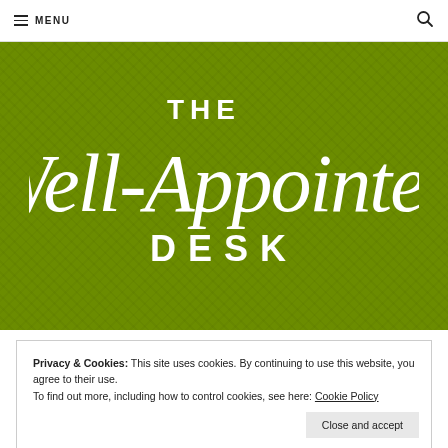MENU
[Figure (logo): The Well-Appointed Desk logo — white script and serif text on olive green background]
Privacy & Cookies: This site uses cookies. By continuing to use this website, you agree to their use.
To find out more, including how to control cookies, see here: Cookie Policy
Ask The Desk: Refills, Reuse, Notebooks & KC Tourism